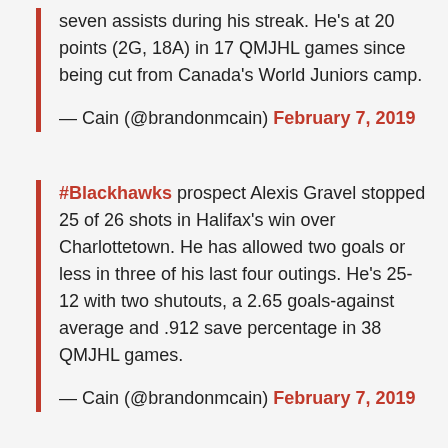seven assists during his streak. He's at 20 points (2G, 18A) in 17 QMJHL games since being cut from Canada's World Juniors camp.
— Cain (@brandonmcain) February 7, 2019
#Blackhawks prospect Alexis Gravel stopped 25 of 26 shots in Halifax's win over Charlottetown. He has allowed two goals or less in three of his last four outings. He's 25-12 with two shutouts, a 2.65 goals-against average and .912 save percentage in 38 QMJHL games.
— Cain (@brandonmcain) February 7, 2019